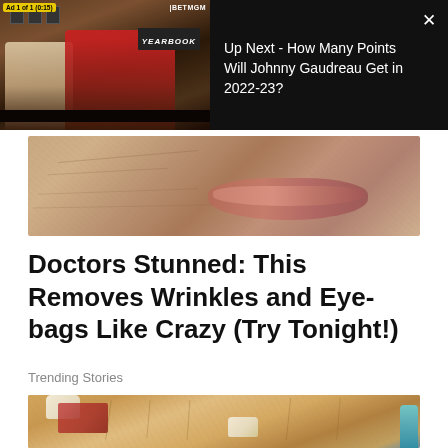[Figure (screenshot): Video ad thumbnail showing two men at a desk in a sports studio with BETMGM logo, with overlay showing 'Up Next - How Many Points Will Johnny Gaudreau Get in 2022-23?' and a close button. Ad label reads 'Ad 1 of 1 (0:15)']
[Figure (photo): Close-up photo of human skin showing lips and facial skin with wrinkles, used as thumbnail for article about removing wrinkles and eye-bags]
Doctors Stunned: This Removes Wrinkles and Eye-bags Like Crazy (Try Tonight!)
Trending Stories
[Figure (illustration): Medical illustration showing close-up of toenails or fingernails with skin detail and a teal-colored medical device, partially visible]